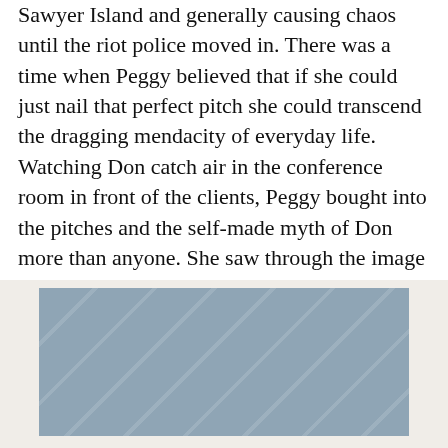Sawyer Island and generally causing chaos until the riot police moved in. There was a time when Peggy believed that if she could just nail that perfect pitch she could transcend the dragging mendacity of everyday life. Watching Don catch air in the conference room in front of the clients, Peggy bought into the pitches and the self-made myth of Don more than anyone. She saw through the image instantly and still wanted to attain it for herself. She couldn't help but ignore the truth of the image when the image itself looked so good. She envisioned herself doing Don's job, but without all the bullshit and baggage Don brought to it. Now that she finally does, she has accumulated just as much bullshit and baggage of her own.
[Figure (photo): A partially visible image with a blue-grey rectangular area, possibly a book cover or framed photograph with diagonal stripe patterns, set against a light beige background.]